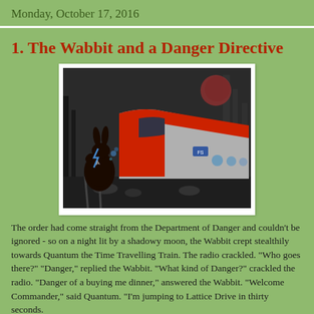Monday, October 17, 2016
1. The Wabbit and a Danger Directive
[Figure (illustration): A dark fantasy illustration showing a black rabbit silhouette in the foreground facing a sleek red and silver high-speed train (Frecciarossa style), set against a dark night sky with a reddish moon and bare trees. The scene is moody and dramatic, mostly black and white with color on the train and moon.]
The order had come straight from the Department of Danger and couldn't be ignored - so on a night lit by a shadowy moon, the Wabbit crept stealthily towards Quantum the Time Travelling Train. The radio crackled. "Who goes there?" "Danger," replied the Wabbit. "What kind of Danger?" crackled the radio. "Danger of a buying me dinner," answered the Wabbit. "Welcome Commander," said Quantum. "I'm jumping to Lattice Drive in thirty seconds.